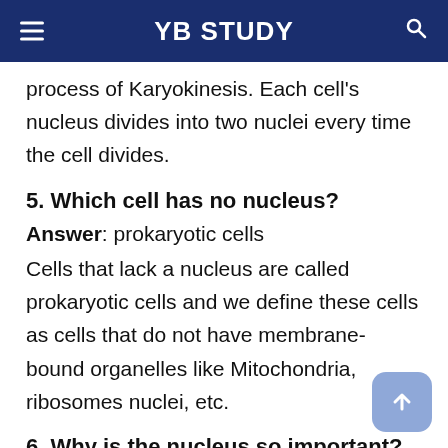YB STUDY
process of Karyokinesis. Each cell's nucleus divides into two nuclei every time the cell divides.
5. Which cell has no nucleus?
Answer: prokaryotic cells
Cells that lack a nucleus are called prokaryotic cells and we define these cells as cells that do not have membrane-bound organelles like Mitochondria, ribosomes nuclei, etc.
6. Why is the nucleus so important?
Answer: Because the nucleus is the most important organelle in the cell. It contains the